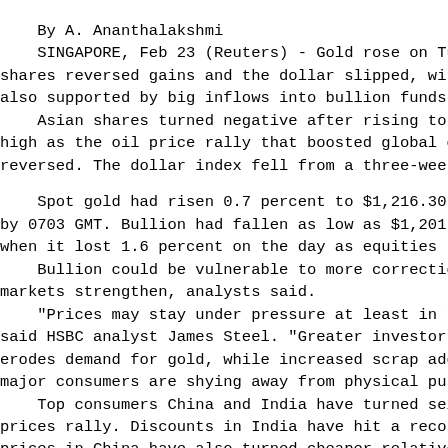By A. Ananthalakshmi
    SINGAPORE, Feb 23 (Reuters) - Gold rose on Tues shares reversed gains and the dollar slipped, with also supported by big inflows into bullion funds.
    Asian shares turned negative after rising to a high as the oil price rally that boosted global equ reversed. The dollar index fell from a three-week t

    Spot gold had risen 0.7 percent to $1,216.30 an by 0703 GMT. Bullion had fallen as low as $1,201.63 when it lost 1.6 percent on the day as equities ral
    Bullion could be vulnerable to more corrections markets strengthen, analysts said.
    "Prices may stay under pressure at least in the said HSBC analyst James Steel. "Greater investor ri erodes demand for gold, while increased scrap adds major consumers are shying away from physical purch
    Top consumers China and India have turned selle prices rally. Discounts in India have hit a record prices in China have also turned cheaper relative t